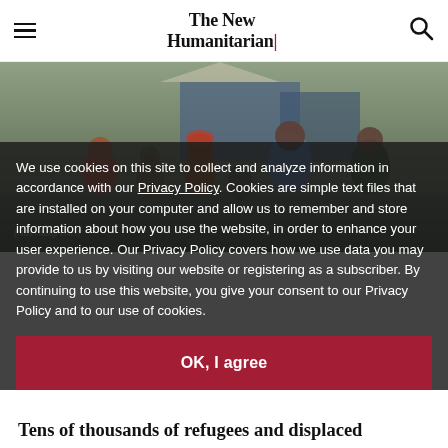The New Humanitarian|
[Figure (photo): Group of refugees and displaced people at a camp, several individuals visible including a man in a blue vest and others in colorful clothing]
We use cookies on this site to collect and analyze information in accordance with our Privacy Policy. Cookies are simple text files that are installed on your computer and allow us to remember and store information about how you use the website, in order to enhance your user experience. Our Privacy Policy covers how we use data you may provide to us by visiting our website or registering as a subscriber. By continuing to use this website, you give your consent to our Privacy Policy and to our use of cookies.
OK, I agree
Tens of thousands of refugees and displaced